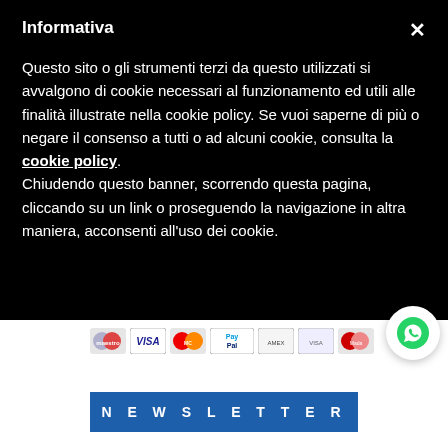Informativa
Questo sito o gli strumenti terzi da questo utilizzati si avvalgono di cookie necessari al funzionamento ed utili alle finalità illustrate nella cookie policy. Se vuoi saperne di più o negare il consenso a tutti o ad alcuni cookie, consulta la cookie policy. Chiudendo questo banner, scorrendo questa pagina, cliccando su un link o proseguendo la navigazione in altra maniera, acconsenti all'uso dei cookie.
[Figure (other): Payment method icons: Maestro, VISA, MasterCard, PayPal, and other card logos]
N E W S L E T T E R
NOME
Contattaci!
COGNOME